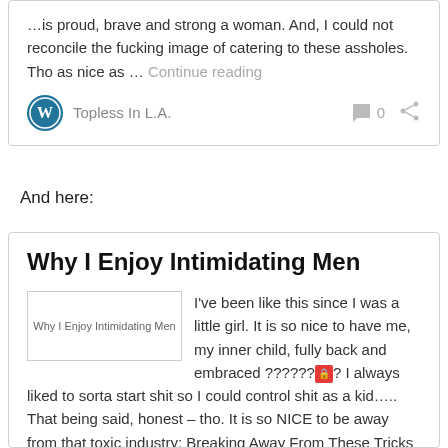...is proud, brave and strong a woman. And, I could not reconcile the fucking image of catering to these assholes. Tho as nice as … Continue reading
Topless In L.A.
And here:
Why I Enjoy Intimidating Men
[Figure (photo): Image placeholder for Why I Enjoy Intimidating Men]
I've been like this since I was a little girl. It is so nice to have me, my inner child, fully back and embraced ??????🔴? I always liked to sorta start shit so I could control shit as a kid….. That being said, honest – tho. It is so NICE to be away from that toxic industry: Breaking Away From These Tricks Has Helped Me To Break Free of My Alcoholic Addiction